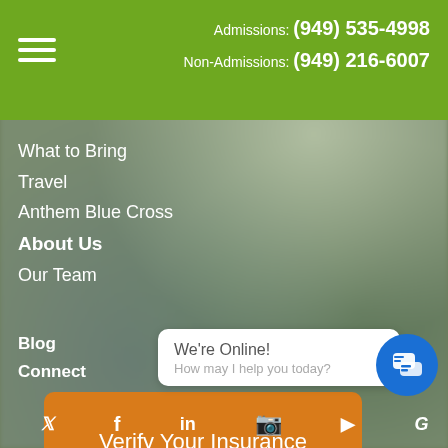Admissions: (949) 535-4998
Non-Admissions: (949) 216-6007
What to Bring
Travel
Anthem Blue Cross
About Us
Our Team
Blog
Connect
Verify Your Insurance
We're Online!
How may I help you today?